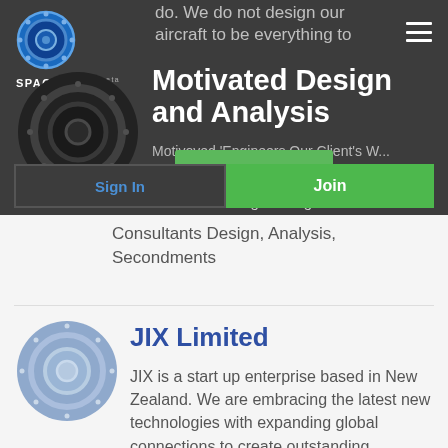[Figure (logo): Spacebase logo - blue circular gear icon with SPACEBASE beta text]
do. We do not design our aircraft to be everything to
[Figure (logo): Dark circular logo for Motivated Design and Analysis company]
Motivated Design and Analysis
Motivoved 'Engineers Our Client's W...
Mechanical Engineering Consultants Design, Analysis, Secondments
[Figure (logo): JIX Limited - blue/grey circular logo]
JIX Limited
JIX is a start up enterprise based in New Zealand. We are embracing the latest new technologies with expanding global connections to create outstanding experiences for